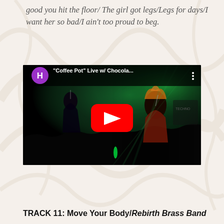good you hit the floor/ The girl got legs/Legs for days/I want her so bad/I ain't too proud to beg.
[Figure (screenshot): YouTube video thumbnail showing a live concert performance with green stage lighting and a performer with blond hair. The video title reads '"Coffee Pot" Live w/ Chocola...' with a YouTube play button overlay and a purple 'H' channel icon in the top-left corner.]
TRACK 11: Move Your Body/ Rebirth Brass Band